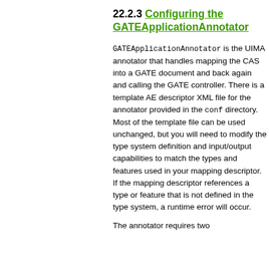you here.
22.2.3 Configuring the GATEApplicationAnnotator
GATEApplicationAnnotator is the UIMA annotator that handles mapping the CAS into a GATE document and back again and calling the GATE controller. There is a template AE descriptor XML file for the annotator provided in the conf directory. Most of the template file can be used unchanged, but you will need to modify the type system definition and input/output capabilities to match the types and features used in your mapping descriptor. If the mapping descriptor references a type or feature that is not defined in the type system, a runtime error will occur.
The annotator requires two